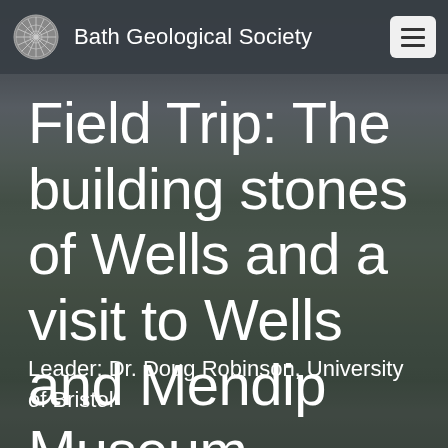Bath Geological Society
Field Trip: The building stones of Wells and a visit to Wells and Mendip Museum
Leader: Dr. Doug Robinson, University of Bristol